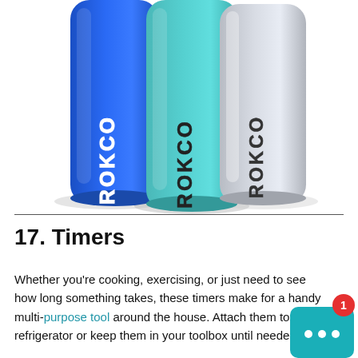[Figure (photo): Three Rokco branded cylindrical water bottles/flasks side by side: left one is blue, middle one is teal/turquoise, right one is light gray/white. Each has the ROKCO logo printed vertically on it.]
17. Timers
Whether you’re cooking, exercising, or just need to see how long something takes, these timers make for a handy multi-purpose tool around the house. Attach them to your refrigerator or keep them in your toolbox until needed.